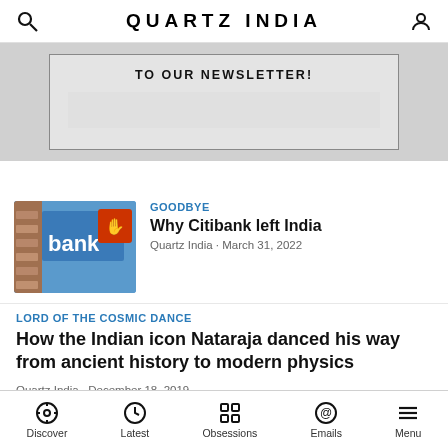QUARTZ INDIA
[Figure (other): Newsletter subscription banner with text 'TO OUR NEWSLETTER!']
[Figure (photo): Thumbnail image of a Citibank sign with blue and orange elements]
GOODBYE
Why Citibank left India
Quartz India · March 31, 2022
LORD OF THE COSMIC DANCE
How the Indian icon Nataraja danced his way from ancient history to modern physics
Quartz India · December 18, 2019
Discover  Latest  Obsessions  Emails  Menu